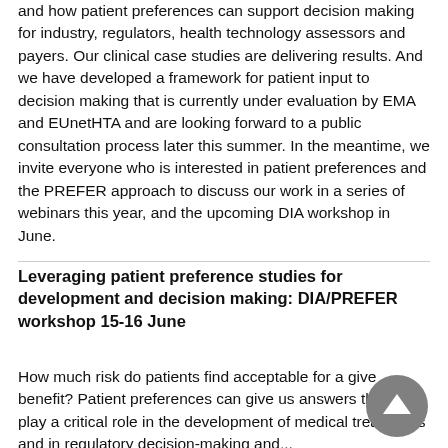and how patient preferences can support decision making for industry, regulators, health technology assessors and payers. Our clinical case studies are delivering results. And we have developed a framework for patient input to decision making that is currently under evaluation by EMA and EUnetHTA and are looking forward to a public consultation process later this summer. In the meantime, we invite everyone who is interested in patient preferences and the PREFER approach to discuss our work in a series of webinars this year, and the upcoming DIA workshop in June.
Leveraging patient preference studies for development and decision making: DIA/PREFER workshop 15-16 June
How much risk do patients find acceptable for a given benefit? Patient preferences can give us answers that can play a critical role in the development of medical treatments and in regulatory decision-making and...